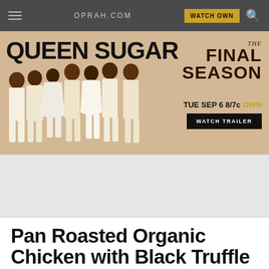OPRAH.COM
[Figure (illustration): Queen Sugar TV show advertisement banner. Shows cast members dressed in white on a warm tan/caramel background. Text reads 'QUEEN SUGAR THE FINAL SEASON TUE SEP 6 8/7c OWN WATCH TRAILER']
[Figure (other): Gray advertisement placeholder space]
Pan Roasted Organic Chicken with Black Truffle Risotto